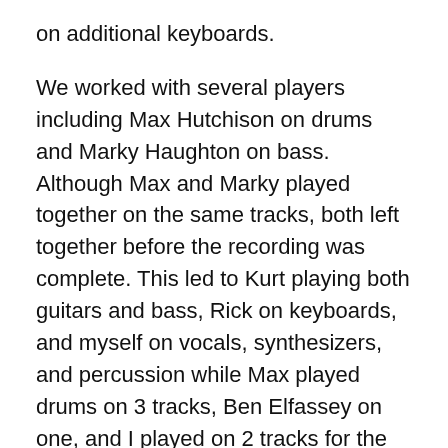on additional keyboards.
We worked with several players including Max Hutchison on drums and Marky Haughton on bass. Although Max and Marky played together on the same tracks, both left together before the recording was complete. This led to Kurt playing both guitars and bass, Rick on keyboards, and myself on vocals, synthesizers, and percussion while Max played drums on 3 tracks, Ben Elfassey on one, and I played on 2 tracks for the finished product. I think we recorded it over two weekends, mixed it, and borrowed the money for a pressing of 950 copies and that was it!
The cover was designed by Anne Marie Carlson and the striking woman featured is a portrait of her mother. The layout was bold for the time; most akin to the European releases of that era which had appealed to us.